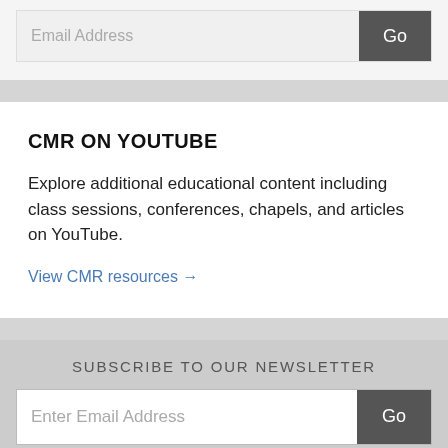Email Address
CMR ON YOUTUBE
Explore additional educational content including class sessions, conferences, chapels, and articles on YouTube.
View CMR resources →
SUBSCRIBE TO OUR NEWSLETTER
Enter Email Address